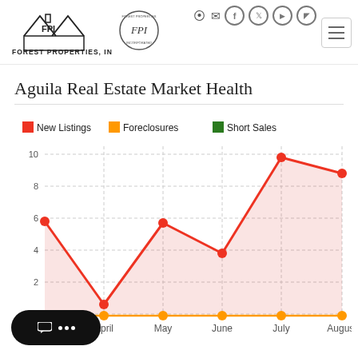Forest Properties, Inc. (FPI) — logo and navigation header
Aguila Real Estate Market Health
[Figure (line-chart): Aguila Real Estate Market Health]